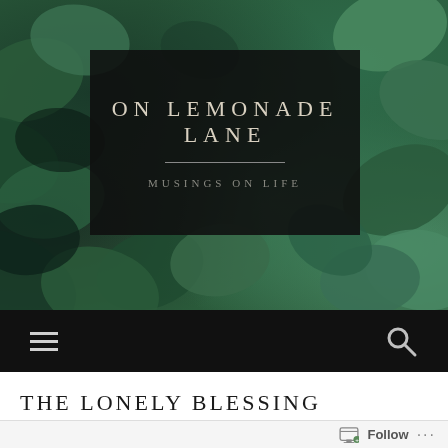[Figure (photo): Background photo of dense green succulent plants filling the hero area of a blog header]
ON LEMONADE LANE
MUSINGS ON LIFE
[Figure (other): Navigation bar with hamburger menu icon on left and search magnifying glass icon on right, black background]
THE LONELY BLESSING
Follow ...